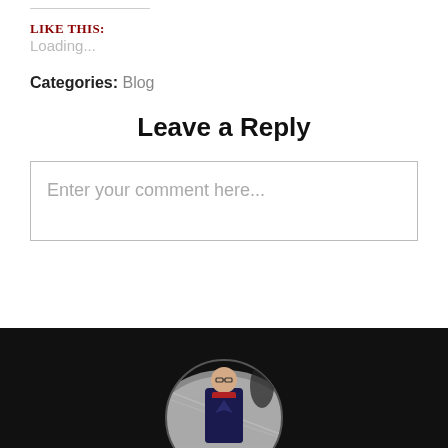Like this:
Loading...
Categories: Blog
Leave a Reply
Enter your comment here...
[Figure (photo): Footer section with dark background and circular profile photo of a person wearing glasses and a dark coat, standing in front of a large curved metallic structure]